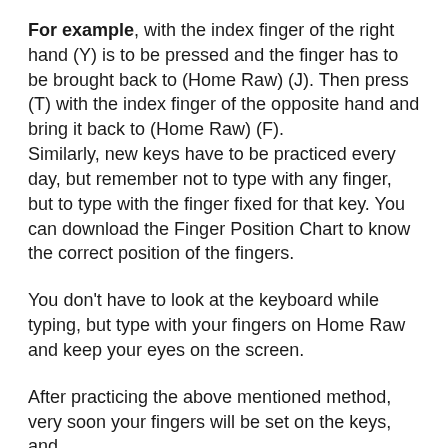For example, with the index finger of the right hand (Y) is to be pressed and the finger has to be brought back to (Home Raw) (J). Then press (T) with the index finger of the opposite hand and bring it back to (Home Raw) (F). Similarly, new keys have to be practiced every day, but remember not to type with any finger, but to type with the finger fixed for that key. You can download the Finger Position Chart to know the correct position of the fingers.
You don't have to look at the keyboard while typing, but type with your fingers on Home Raw and keep your eyes on the screen.
After practicing the above mentioned method, very soon your fingers will be set on the keys, and